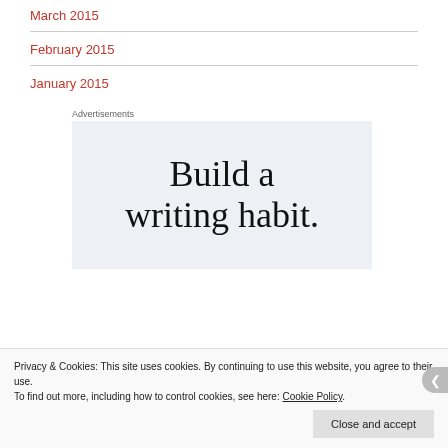March 2015
February 2015
January 2015
Advertisements
[Figure (other): Advertisement box with text 'Build a writing habit.']
Privacy & Cookies: This site uses cookies. By continuing to use this website, you agree to their use.
To find out more, including how to control cookies, see here: Cookie Policy